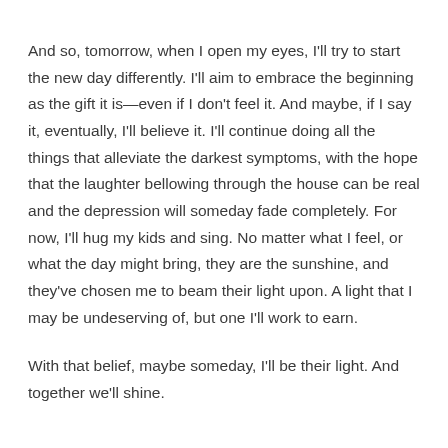And so, tomorrow, when I open my eyes, I'll try to start the new day differently. I'll aim to embrace the beginning as the gift it is—even if I don't feel it. And maybe, if I say it, eventually, I'll believe it. I'll continue doing all the things that alleviate the darkest symptoms, with the hope that the laughter bellowing through the house can be real and the depression will someday fade completely. For now, I'll hug my kids and sing. No matter what I feel, or what the day might bring, they are the sunshine, and they've chosen me to beam their light upon. A light that I may be undeserving of, but one I'll work to earn.
With that belief, maybe someday, I'll be their light. And together we'll shine.